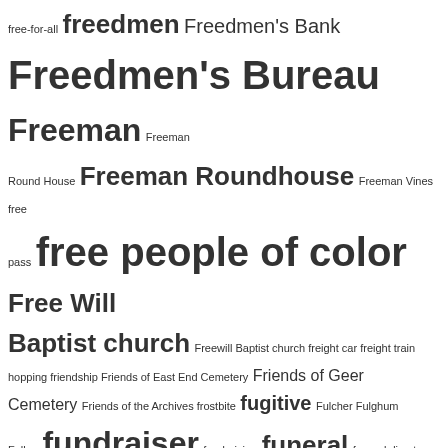free-for-all freedmen Freedmen's Bank Freedmen's Bureau Freeman Freeman Round House Freeman Roundhouse Freeman Vines free pass free people of color Free Will Baptist church Freewill Baptist church freight car freight train hopping friendship Friends of East End Cemetery Friends of Geer Cemetery Friends of the Archives frostbite fugitive Fulcher Fulghum Fuller. fundraiser fundraising funeral funeral director funeral home funeral program funeral records funeral register furlough furniture fusion Gaffney Gaither gambling gangrene garden gardening Gardners township Garveyite gas chamber gas mask Gaston gastrointestinal disease Gause Gay Gear genealogy Genius Grant Gentlemen's Agreement gentrification Geographic Information System George George H. White Georgia State Industrial College Gerald Gervin gifts GIG360 Gilchrist Giles Gillespie Gillespie Normal School Gilliam Girl Scouts GIS giving back glee club Globe Theatre Godfrey Goffney Golden Glove Goldsboro NC Goldsboro Street